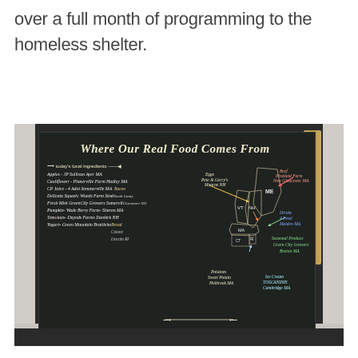over a full month of programming to the homeless shelter.
[Figure (photo): A chalkboard sign on a white tiled wall that reads 'Where Our Real Food Comes From' with a hand-drawn map of New England states (ME, NH, VT, MA, RI, CT) and chalk-written local food sources: Apples JP Sullivan Ayer MA, Cauliflower Planerille Farm Hadley MA, CP Juice 4 Adot Sommerville MA, Delicata Squash Wueds Farm Stoddard North County, Fresh Mint GreenCity Growers Somerville, Pumpkin Wade Berry Farm Sharon MA, Tomatoes Dayods Farms Dunkirk NH, Yogurt Green Mountain Brattleboro, Eggs Pete & Gerry's Monroe NH, Beef Pineland Farm New Gloucester ME, Drinks 4 Petal Malden MA, Seasonal Produce Green City Growers Boston MA, Ice Cream Toscaninis Cambridge MA, Potatoes Sweet Potato Holbrook MA, Bread Cotone Lincoln RI]